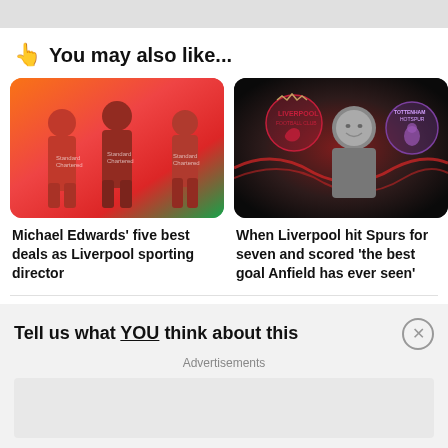👆 You may also like...
[Figure (photo): Liverpool FC players in red jerseys running, colorful background]
Michael Edwards' five best deals as Liverpool sporting director
[Figure (photo): Black and white photo of a man with Liverpool FC and Tottenham Hotspur badges on a red background]
When Liverpool hit Spurs for seven and scored 'the best goal Anfield has ever seen'
Tell us what YOU think about this
Advertisements